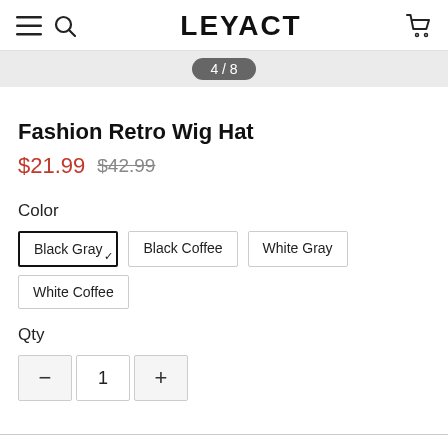LEYACT
4 / 8
Fashion Retro Wig Hat
$21.99  $42.99
Color
Black Gray (selected)
Black Coffee
White Gray
White Coffee
Qty
- 1 +